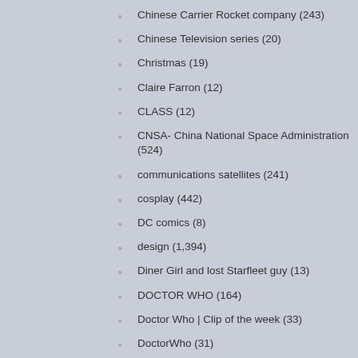Chinese Carrier Rocket company (243)
Chinese Television series (20)
Christmas (19)
Claire Farron (12)
CLASS (12)
CNSA- China National Space Administration (524)
communications satellites (241)
cosplay (442)
DC comics (8)
design (1,394)
Diner Girl and lost Starfleet guy (13)
DOCTOR WHO (164)
Doctor Who | Clip of the week (33)
DoctorWho (31)
dresses (15)